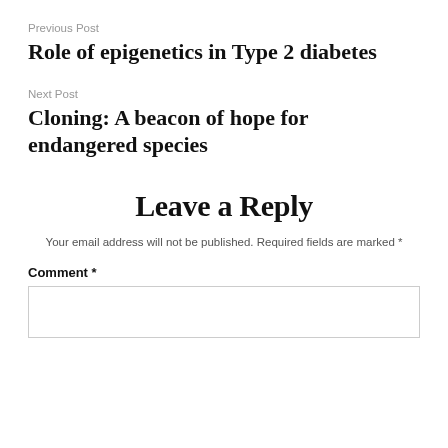Previous Post
Role of epigenetics in Type 2 diabetes
Next Post
Cloning: A beacon of hope for endangered species
Leave a Reply
Your email address will not be published. Required fields are marked *
Comment *